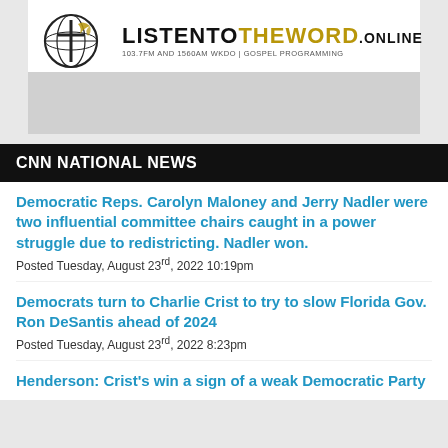[Figure (logo): ListenToTheWord.online logo with globe icon and cross, tagline: 103.7FM AND 1560AM WKDO | GOSPEL PROGRAMMING]
CNN NATIONAL NEWS
Democratic Reps. Carolyn Maloney and Jerry Nadler were two influential committee chairs caught in a power struggle due to redistricting. Nadler won.
Posted Tuesday, August 23rd, 2022 10:19pm
Democrats turn to Charlie Crist to try to slow Florida Gov. Ron DeSantis ahead of 2024
Posted Tuesday, August 23rd, 2022 8:23pm
Henderson: Crist's win a sign of a weak Democratic Party